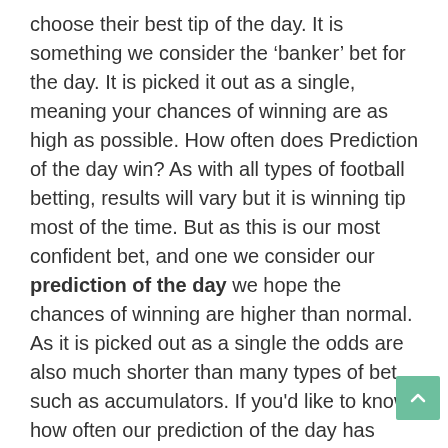choose their best tip of the day. It is something we consider the 'banker' bet for the day. It is picked it out as a single, meaning your chances of winning are as high as possible. How often does Prediction of the day win? As with all types of football betting, results will vary but it is winning tip most of the time. But as this is our most confident bet, and one we consider our prediction of the day we hope the chances of winning are higher than normal. As it is picked out as a single the odds are also much shorter than many types of bet, such as accumulators. If you'd like to know how often our prediction of the day has been winning recently, send us a message via our contact form! One of our football tipsters will be more than happy to let you know how the tip has been performing. Our Prediction of the day is fully researched and completely free but we can not guarantee winners. Please gamble responsibly and visit our gambling guidelines for more information (18+). Where should I back your Prediction of the day? In our easy-bet buttons, you can pick the bookmaker offering the best odds. Or alternatively, you can